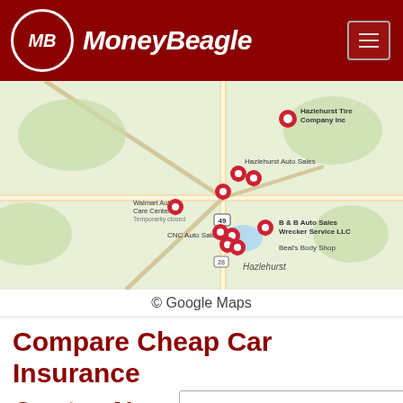MoneyBeagle
[Figure (map): Google Maps screenshot showing Hazlehurst area with multiple red location pins marking auto-related businesses including Hazlehurst Tire Company Inc, Hazlehurst Auto Sales, Walmart Auto Care Centers, CNC Auto Sales, B & B Auto Sales Wrecker Service LLC, Beal's Body Shop]
© Google Maps
Compare Cheap Car Insurance Quotes Now
Enter Zip
Get Rates >